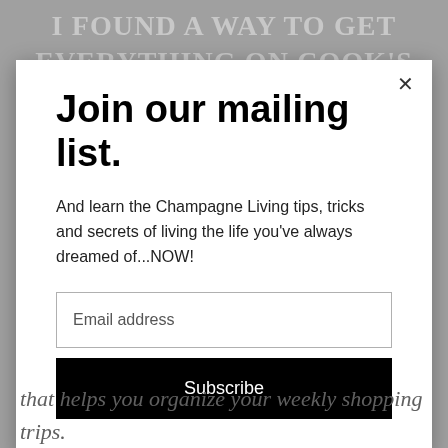I FOUND A WAY TO GET EVERYTHING ON COOK'S LIST
Join our mailing list.
And learn the Champagne Living tips, tricks and secrets of living the life you've always dreamed of...NOW!
Email address
Subscribe
that helps you organize your weekly shopping trips.